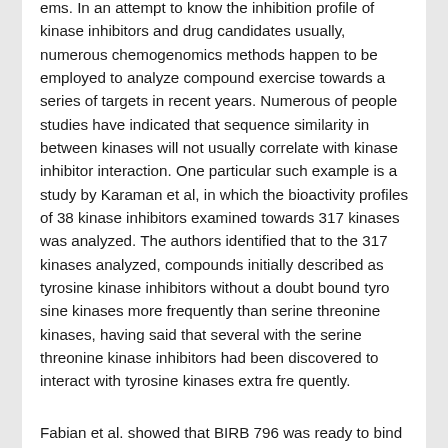ems. In an attempt to know the inhibition profile of kinase inhibitors and drug candidates usually, numerous chemogenomics methods happen to be employed to analyze compound exercise towards a series of targets in recent years. Numerous of people studies have indicated that sequence similarity in between kinases will not usually correlate with kinase inhibitor interaction. One particular such example is a study by Karaman et al, in which the bioactivity profiles of 38 kinase inhibitors examined towards 317 kinases was analyzed. The authors identified that to the 317 kinases analyzed, compounds initially described as tyrosine kinase inhibitors without a doubt bound tyro sine kinases more frequently than serine threonine kinases, having said that several with the serine threonine kinase inhibitors had been discovered to interact with tyrosine kinases extra fre quently.
Fabian et al. showed that BIRB 796 was ready to bind the serine threonine kinase p38, and also the tyrosine kinase ABL rather tightly, des pite the two kinases owning only a 23% sequence identity. Similarly, the tyrosine kinase